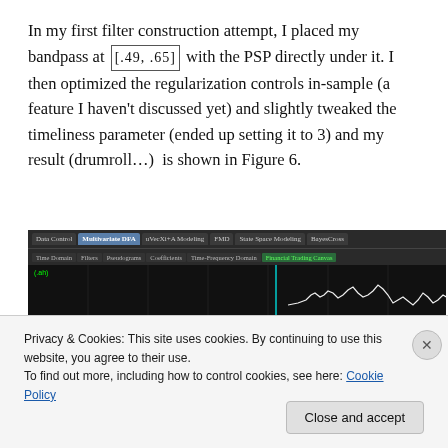In my first filter construction attempt, I placed my bandpass at [.49, .65] with the PSP directly under it. I then optimized the regularization controls in-sample (a feature I haven't discussed yet) and slightly tweaked the timeliness parameter (ended up setting it to 3) and my result (drumroll…)  is shown in Figure 6.
[Figure (screenshot): Screenshot of a software interface showing Multivariate DFA tab selected, with Financial Trading Canvas sub-tab active, displaying a dark-themed chart area with financial data waveforms in white/pink on black background]
Privacy & Cookies: This site uses cookies. By continuing to use this website, you agree to their use.
To find out more, including how to control cookies, see here: Cookie Policy